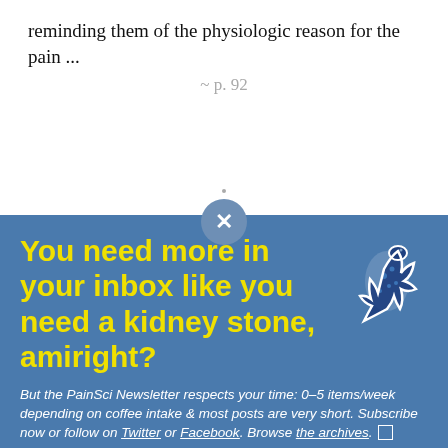reminding them of the physiologic reason for the pain ...
~ p. 92
You need more in your inbox like you need a kidney stone, amiright?
But the PainSci Newsletter respects your time: 0–5 items/week depending on coffee intake & most posts are very short. Subscribe now or follow on Twitter or Facebook. Browse the archives. □
[Figure (illustration): Blue spotted gecko/lizard illustration sticker in the top-right corner of the banner]
you@happy.com   Subscribe